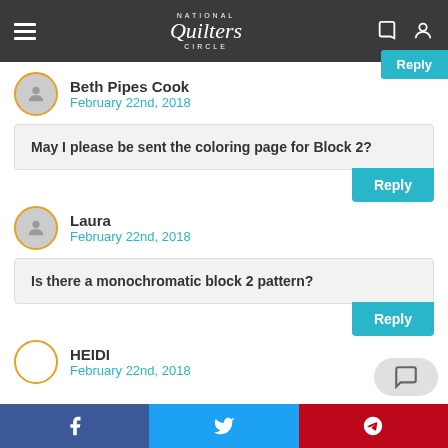National Quilters Circle
Beth Pipes Cook
February 22nd, 2018
May I please be sent the coloring page for Block 2?
Laura
February 22nd, 2018
Is there a monochromatic block 2 pattern?
HEIDI
February 22nd, 2018